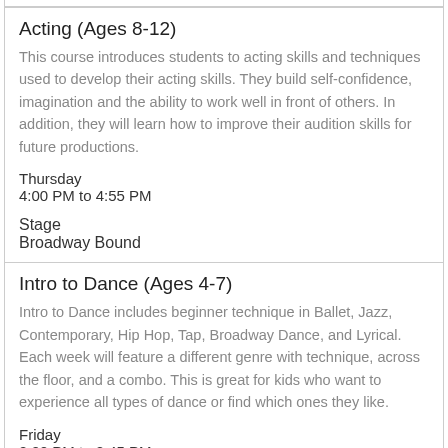Acting (Ages 8-12)
This course introduces students to acting skills and techniques used to develop their acting skills. They build self-confidence, imagination and the ability to work well in front of others. In addition, they will learn how to improve their audition skills for future productions.
Thursday
4:00 PM to 4:55 PM
Stage
Broadway Bound
Intro to Dance (Ages 4-7)
Intro to Dance includes beginner technique in Ballet, Jazz, Contemporary, Hip Hop, Tap, Broadway Dance, and Lyrical. Each week will feature a different genre with technique, across the floor, and a combo. This is great for kids who want to experience all types of dance or find which ones they like.
Friday
2:00 PM to 2:45 PM
Dance Studio
Broadway Bound
Beginning Tap (Ages 8-12)